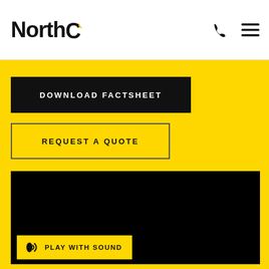NorthC
DOWNLOAD FACTSHEET
REQUEST A QUOTE
[Figure (screenshot): Black video player area with a yellow 'PLAY WITH SOUND' button at the bottom left]